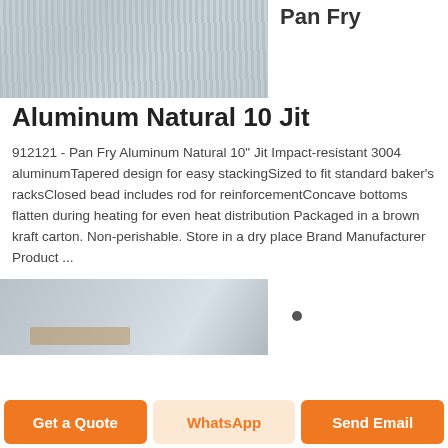[Figure (photo): Stacked aluminum sheets/pans shown from an angle, silver metallic finish with vertical striations]
Pan Fry
Aluminum Natural 10 Jit
912121 - Pan Fry Aluminum Natural 10" Jit Impact-resistant 3004 aluminumTapered design for easy stackingSized to fit standard baker's racksClosed bead includes rod for reinforcementConcave bottoms flatten during heating for even heat distribution Packaged in a brown kraft carton. Non-perishable. Store in a dry place Brand Manufacturer Product ...
[Figure (photo): Another view of aluminum sheet pans stacked on a pallet in a warehouse or storage area]
Get a Quote
WhatsApp
Send Email